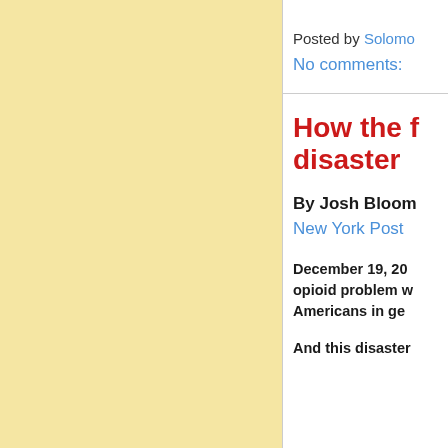Posted by Solomon
No comments:
How the f... disaster
By Josh Bloom
New York Post
December 19, 20... opioid problem w... Americans in ge...
And this disaster...